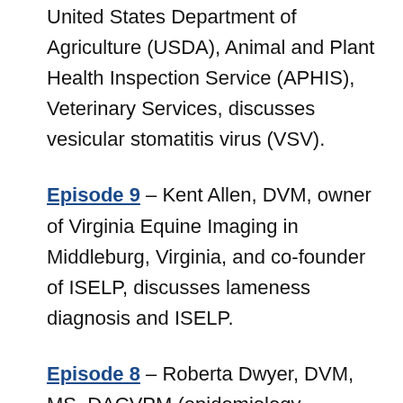United States Department of Agriculture (USDA), Animal and Plant Health Inspection Service (APHIS), Veterinary Services, discusses vesicular stomatitis virus (VSV).
Episode 9 – Kent Allen, DVM, owner of Virginia Equine Imaging in Middleburg, Virginia, and co-founder of ISELP, discusses lameness diagnosis and ISELP.
Episode 8 – Roberta Dwyer, DVM, MS, DACVPM (epidemiology specialty), discusses biosecurity factors that equine veterinarians need to understand in order to best prevent and control disease spread on client farms.